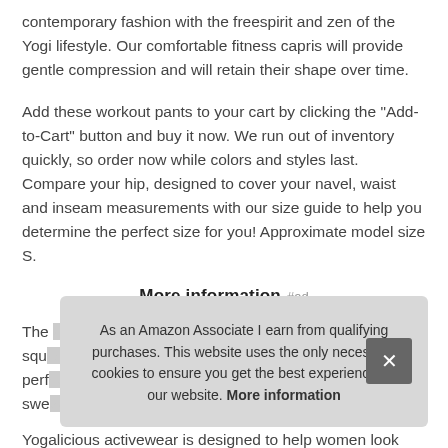contemporary fashion with the freespirit and zen of the Yogi lifestyle. Our comfortable fitness capris will provide gentle compression and will retain their shape over time.
Add these workout pants to your cart by clicking the "Add-to-Cart" button and buy it now. We run out of inventory quickly, so order now while colors and styles last. Compare your hip, designed to cover your navel, waist and inseam measurements with our size guide to help you determine the perfect size for you! Approximate model size S.
More information #ad
The [obscured text] squ[obscured] perf[obscured] swe[obscured]
As an Amazon Associate I earn from qualifying purchases. This website uses the only necessary cookies to ensure you get the best experience on our website. More information
Yogalicious activewear is designed to help women look and